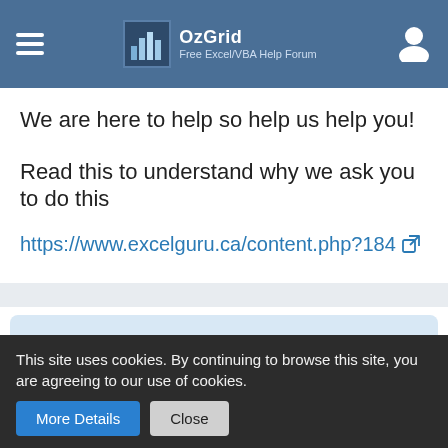OzGrid - Free Excel/VBA Help Forum
We are here to help so help us help you!
Read this to understand why we ask you to do this
https://www.excelguru.ca/content.php?184
Participate now!
Don't have an account yet? Register yourself now
This site uses cookies. By continuing to browse this site, you are agreeing to our use of cookies.
More Details   Close